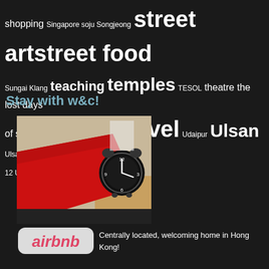shopping Singapore soju Songjeong street art street food Sungai Klang teaching temples TESOL theatre the lost days of summer series toilet trains travel Udaipur Ulsan Ulsan 12 Uttar Pradesh waterfalls Xi'an
Stay with w&c!
[Figure (photo): Bedroom photo showing a red pillow on a black bedspread and a black alarm clock on a wooden bedside table]
[Figure (logo): Airbnb logo with white bubble/cloud outline styling]
Centrally located, welcoming home in Hong Kong!